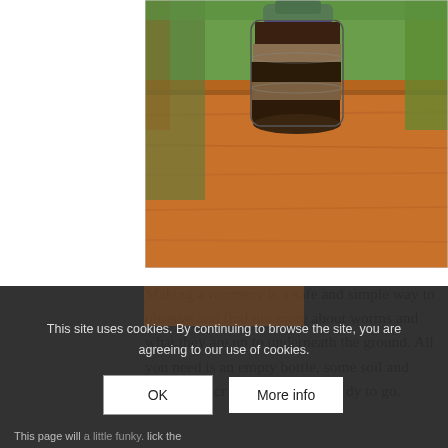[Figure (photo): A plastic bottle filled with layered soil and organic material, sitting on a wooden table outdoors with green grass and fabric in the background — a wormery craft project.]
Making a wormery is a safe and simple way to observe and find out more about worms and what they are up to underneath the ground. All you need is an empty bottle, some soil and vegetable scraps and you are ready to go.
This site uses cookies. By continuing to browse the site, you are agreeing to our use of cookies.
This page will ... a little funky. lick the